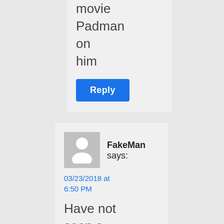movie Padman on him
Reply
FakeMan says:
03/23/2018 at 6:50 PM
Have not seen a more